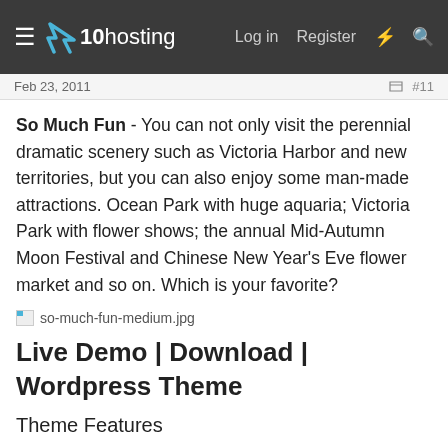x10hosting — Log in   Register
Feb 23, 2011   #11
So Much Fun - You can not only visit the perennial dramatic scenery such as Victoria Harbor and new territories, but you can also enjoy some man-made attractions. Ocean Park with huge aquaria; Victoria Park with flower shows; the annual Mid-Autumn Moon Festival and Chinese New Year's Eve flower market and so on. Which is your favorite?
[Figure (photo): Broken image placeholder: so-much-fun-medium.jpg]
Live Demo | Download | Wordpress Theme
Theme Features
Unique, Creative Design, Modern Style
Compatible with various web browsers: MSIE, Opera, Firefox, Safari, etc